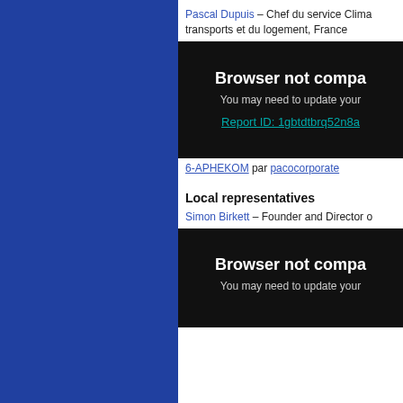Pascal Dupuis – Chef du service Clima transports et du logement, France
[Figure (screenshot): Browser not compatible error screen with Report ID link: 1gbtdtbrq52n8a]
6-APHEKOM par pacocorporate
Local representatives
Simon Birkett – Founder and Director o
[Figure (screenshot): Browser not compatible error screen with 'You may need to update your' message]